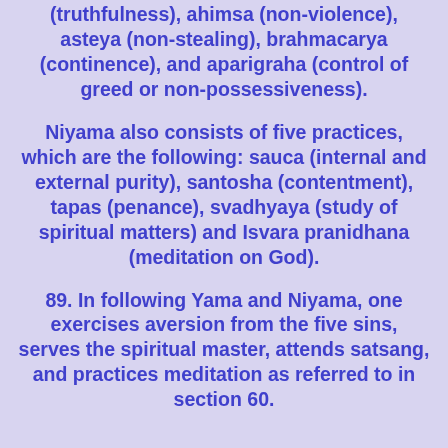(truthfulness), ahimsa (non-violence), asteya (non-stealing), brahmacarya (continence), and aparigraha (control of greed or non-possessiveness).
Niyama also consists of five practices, which are the following: sauca (internal and external purity), santosha (contentment), tapas (penance), svadhyaya (study of spiritual matters) and Isvara pranidhana (meditation on God).
89. In following Yama and Niyama, one exercises aversion from the five sins, serves the spiritual master, attends satsang, and practices meditation as referred to in section 60.